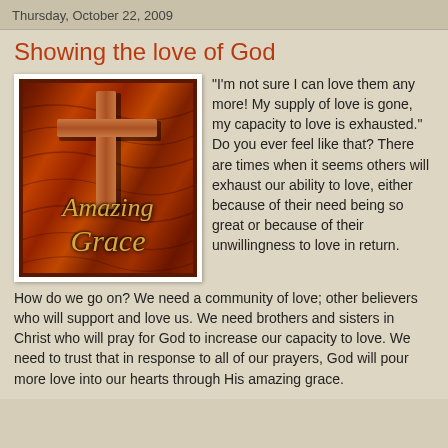Thursday, October 22, 2009
Showing the love of God
[Figure (illustration): Wooden cross on a dark wood-grain background with golden italic text reading 'Amazing Grace']
"I'm not sure I can love them any more! My supply of love is gone, my capacity to love is exhausted." Do you ever feel like that? There are times when it seems others will exhaust our ability to love, either because of their need being so great or because of their unwillingness to love in return. How do we go on? We need a community of love; other believers who will support and love us. We need brothers and sisters in Christ who will pray for God to increase our capacity to love. We need to trust that in response to all of our prayers, God will pour more love into our hearts through His amazing grace.